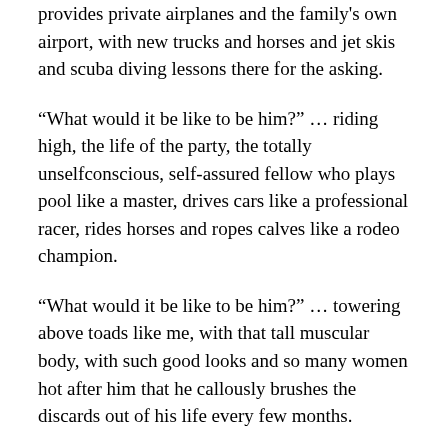provides private airplanes and the family's own airport, with new trucks and horses and jet skis and scuba diving lessons there for the asking.
“What would it be like to be him?” … riding high, the life of the party, the totally unselfconscious, self-assured fellow who plays pool like a master, drives cars like a professional racer, rides horses and ropes calves like a rodeo champion.
“What would it be like to be him?” … towering above toads like me, with that tall muscular body, with such good looks and so many women hot after him that he callously brushes the discards out of his life every few months.
This, though, was the first time the question had ever been aimed in the other direction, asking “What would it be like to be her?” … not UP there above me, but DOWN